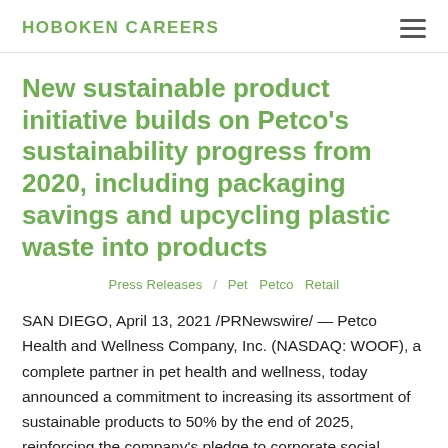HOBOKEN CAREERS
New sustainable product initiative builds on Petco’s sustainability progress from 2020, including packaging savings and upcycling plastic waste into products
Press Releases / Pet  Petco  Retail
SAN DIEGO, April 13, 2021 /PRNewswire/ — Petco Health and Wellness Company, Inc. (NASDAQ: WOOF), a complete partner in pet health and wellness, today announced a commitment to increasing its assortment of sustainable products to 50% by the end of 2025, reinforcing the company’s pledge to corporate social responsibility and to preserving the health and